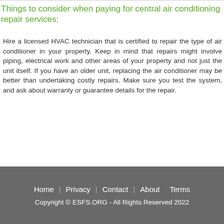Things to consider when paying for central air conditioning repair services:
Hire a licensed HVAC technician that is certified to repair the type of air conditioner in your property. Keep in mind that repairs might involve piping, electrical work and other areas of your property and not just the unit itself. If you have an older unit, replacing the air conditioner may be better than undertaking costly repairs. Make sure you test the system, and ask about warranty or guarantee details for the repair.
Home  Privacy  Contact  About  Terms
Copyright © ESFS.ORG - All Rights Reserved 2022